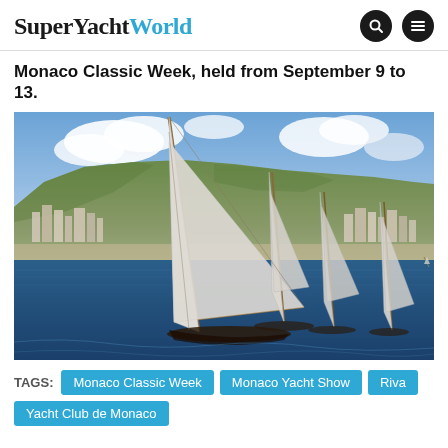SuperYachtWorld
Monaco Classic Week, held from September 9 to 13.
[Figure (photo): Classic sailing yachts racing with large white sails in the foreground, hillside city of Monaco visible in background under partly cloudy sky.]
TAGS: Monaco Classic Week  Monaco Yacht Show  Riva  Yacht Club de Monaco